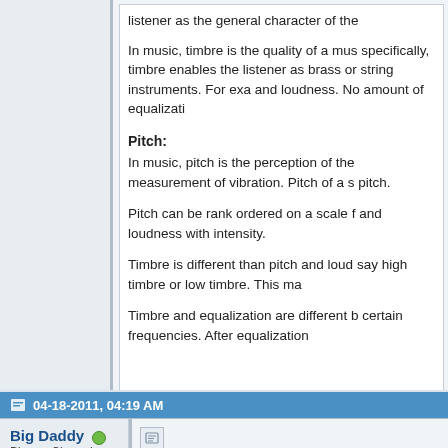listener as the general character of the
In music, timbre is the quality of a mus specifically, timbre enables the listener as brass or string instruments. For exa and loudness. No amount of equalizati
Pitch:
In music, pitch is the perception of the measurement of vibration. Pitch of a s pitch.
Pitch can be rank ordered on a scale f and loudness with intensity.
Timbre is different than pitch and loud say high timbre or low timbre. This ma
Timbre and equalization are different b certain frequencies. After equalization
Last edited by Big Daddy; 02-11-2013 at 12:02 AM.
04-18-2011, 04:19 AM
Big Daddy
Blu-ray Champion